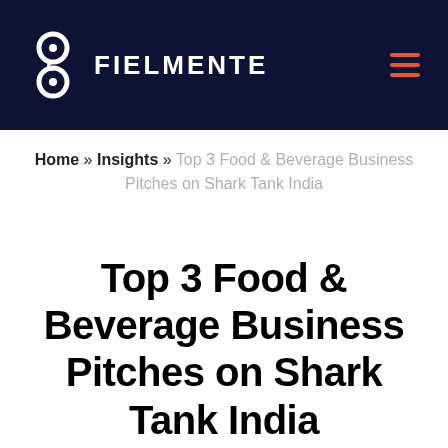FIELMENTE
Home » Insights » Top 3 Food & Beverage Business Pitches on Shark Tank India
Top 3 Food & Beverage Business Pitches on Shark Tank India